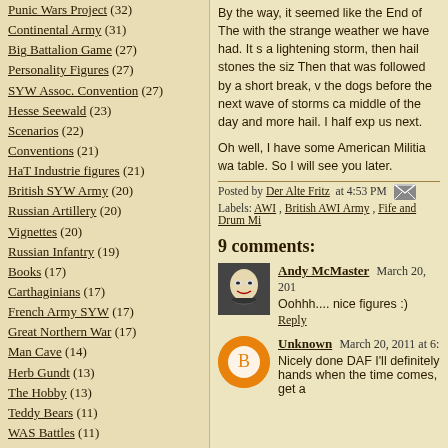Punic Wars Project (32)
Continental Army (31)
Big Battalion Game (27)
Personality Figures (27)
SYW Assoc. Convention (27)
Hesse Seewald (23)
Scenarios (22)
Conventions (21)
HaT Industrie figures (21)
British SYW Army (20)
Russian Artillery (20)
Vignettes (20)
Russian Infantry (19)
Books (17)
Carthaginians (17)
French Army SYW (17)
Great Northern War (17)
Man Cave (14)
Herb Gundt (13)
The Hobby (13)
Teddy Bears (11)
WAS Battles (11)
Blog Info (10)
Republican Romans (10)
Jacobite Rebellion (9)
Battlefields (3)
Blog Archive
By the way, it seemed like the End of The with the strange weather we have had. It s a lightening storm, then hail stones the siz Then that was followed by a short break, v the dogs before the next wave of storms ca middle of the day and more hail. I half exp us next.
Oh well, I have some American Militia wa table. So I will see you later.
Posted by Der Alte Fritz at 4:53 PM Labels: AWI , British AWI Army , Fife and Drum Mi
9 comments:
Andy McMaster March 20, 201
Oohhh.... nice figures :)
Reply
Unknown March 20, 2011 at 6:
Nicely done DAF I'll definitely hands when the time comes, get a